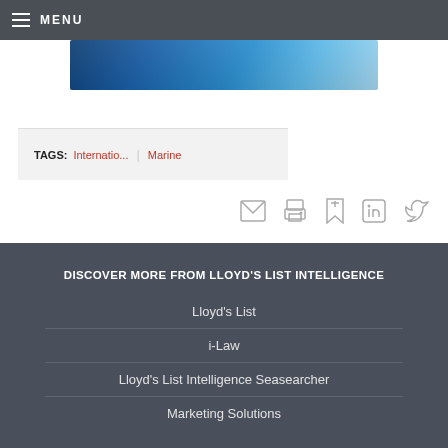MENU
[Figure (photo): Blue ocean/water banner image]
TAGS: Internatio... | Marine
[Figure (other): Social sharing icons: email, print, bookmark, LinkedIn, Twitter]
DISCOVER MORE FROM LLOYD'S LIST INTELLIGENCE
Lloyd's List
i-Law
Lloyd's List Intelligence Seasearcher
Marketing Solutions